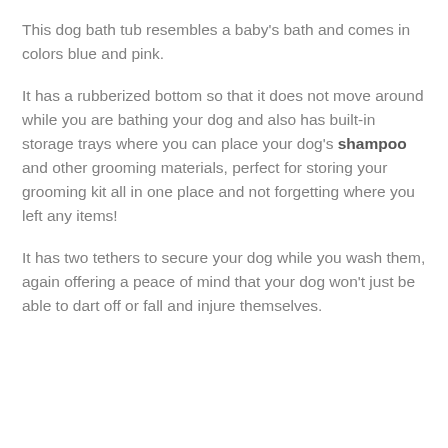This dog bath tub resembles a baby's bath and comes in colors blue and pink.
It has a rubberized bottom so that it does not move around while you are bathing your dog and also has built-in storage trays where you can place your dog's shampoo and other grooming materials, perfect for storing your grooming kit all in one place and not forgetting where you left any items!
It has two tethers to secure your dog while you wash them, again offering a peace of mind that your dog won't just be able to dart off or fall and injure themselves.